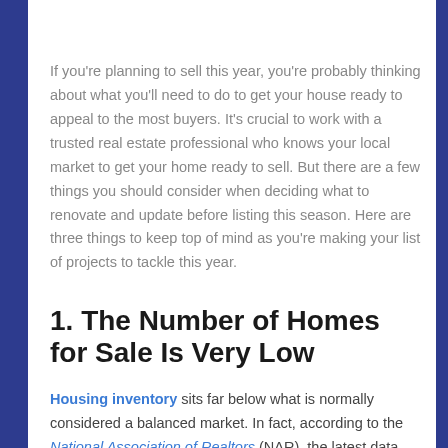If you're planning to sell this year, you're probably thinking about what you'll need to do to get your house ready to appeal to the most buyers. It's crucial to work with a trusted real estate professional who knows your local market to get your home ready to sell. But there are a few things you should consider when deciding what to renovate and update before listing this season. Here are three things to keep top of mind as you're making your list of projects to tackle this year.
1. The Number of Homes for Sale Is Very Low
Housing inventory sits far below what is normally considered a balanced market. In fact, according to the National Association of Realtors (NAR), the latest data